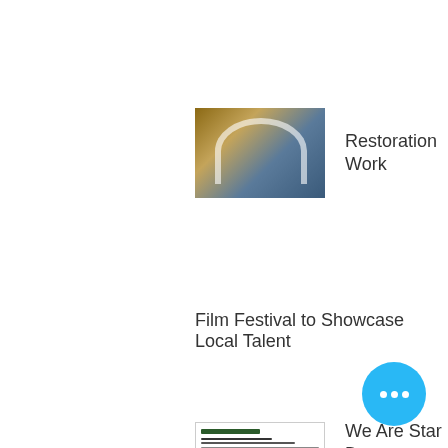[Figure (photo): Thumbnail image of restoration work showing architectural detail, arched window on a brick building]
Restoration Work
[Figure (photo): Thumbnail image of a document/flyer for We Are Star Dust event]
We Are Star Dust - August 18, 2019
Film Festival to Showcase Local Talent